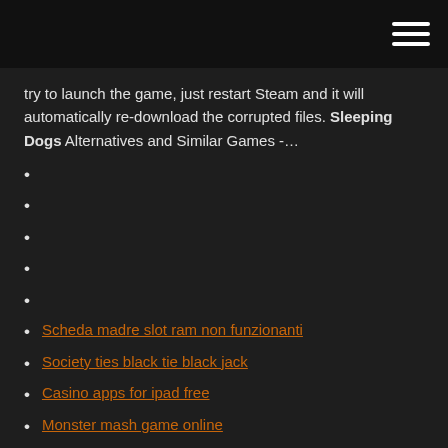try to launch the game, just restart Steam and it will automatically re-download the corrupted files. Sleeping Dogs Alternatives and Similar Games -…
Scheda madre slot ram non funzionanti
Society ties black tie black jack
Casino apps for ipad free
Monster mash game online
Vera john casino free spins